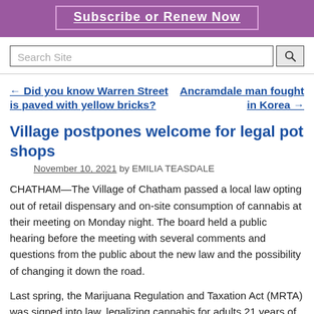Subscribe or Renew Now
Search Site
← Did you know Warren Street is paved with yellow bricks?
Ancramdale man fought in Korea →
Village postpones welcome for legal pot shops
November 10, 2021 by EMILIA TEASDALE
CHATHAM—The Village of Chatham passed a local law opting out of retail dispensary and on-site consumption of cannabis at their meeting on Monday night. The board held a public hearing before the meeting with several comments and questions from the public about the new law and the possibility of changing it down the road.
Last spring, the Marijuana Regulation and Taxation Act (MRTA) was signed into law, legalizing cannabis for adults 21 years of age or older in the state.